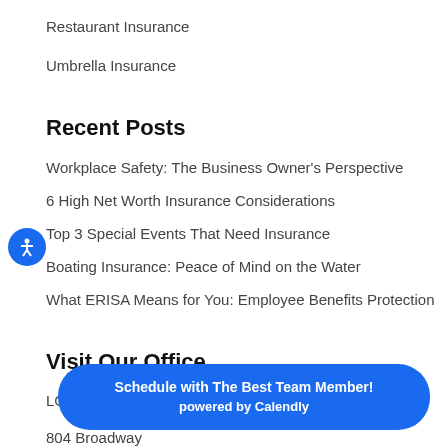Restaurant Insurance
Umbrella Insurance
Recent Posts
Workplace Safety: The Business Owner's Perspective
6 High Net Worth Insurance Considerations
Top 3 Special Events That Need Insurance
Boating Insurance: Peace of Mind on the Water
What ERISA Means for You: Employee Benefits Protection
Visit Our Office
LG Insuran…
804 Broadway
Schedule with The Best Team Member! powered by Calendly